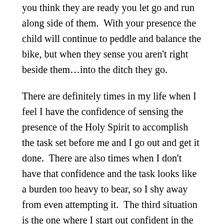you think they are ready you let go and run along side of them.  With your presence the child will continue to peddle and balance the bike, but when they sense you aren't right beside them…into the ditch they go.
There are definitely times in my life when I feel I have the confidence of sensing the presence of the Holy Spirit to accomplish the task set before me and I go out and get it done.  There are also times when I don't have that confidence and the task looks like a burden too heavy to bear, so I shy away from even attempting it.  The third situation is the one where I start out confident in the Holy Spirit's presence, and at some point in the process, I feel like I am going it alone.  I get really scared and begin to make a mess of things or freeze up and find myself unable to go forward.  This is when I